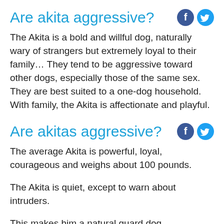Are akita aggressive?
The Akita is a bold and willful dog, naturally wary of strangers but extremely loyal to their family… They tend to be aggressive toward other dogs, especially those of the same sex. They are best suited to a one-dog household. With family, the Akita is affectionate and playful.
Are akitas aggressive?
The average Akita is powerful, loyal, courageous and weighs about 100 pounds.
The Akita is quiet, except to warn about intruders.
This makes him a natural guard dog.